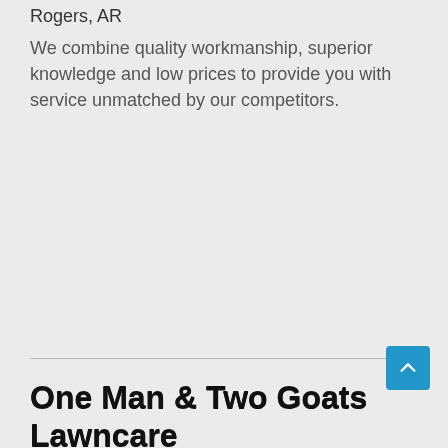Rogers, AR
We combine quality workmanship, superior knowledge and low prices to provide you with service unmatched by our competitors.
One Man & Two Goats Lawncare
Lawn care service
Waco, Texas
Dedicated to Quality, Service, and Customer Satisfaction
Solar Pros of McDonough